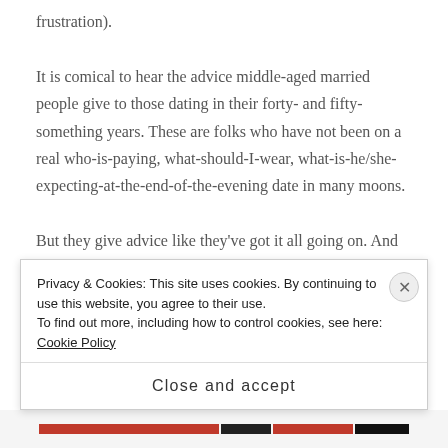frustration).
It is comical to hear the advice middle-aged married people give to those dating in their forty- and fifty-something years. These are folks who have not been on a real who-is-paying, what-should-I-wear, what-is-he/she-expecting-at-the-end-of-the-evening date in many moons.
But they give advice like they’ve got it all going on. And then some.
Privacy & Cookies: This site uses cookies. By continuing to use this website, you agree to their use.
To find out more, including how to control cookies, see here: Cookie Policy
Close and accept